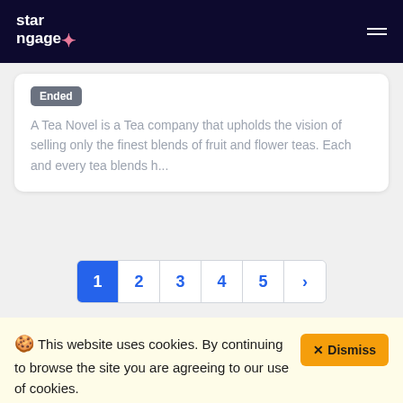starngage
Ended
A Tea Novel is a Tea company that upholds the vision of selling only the finest blends of fruit and flower teas. Each and every tea blends h...
1 2 3 4 5 >
🍪 This website uses cookies. By continuing to browse the site you are agreeing to our use of cookies. × Dismiss